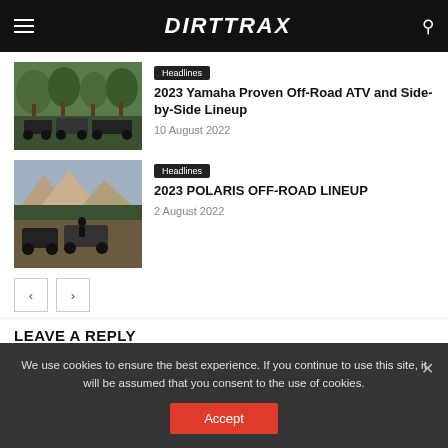DIRTTRAX
[Figure (photo): ATV and side-by-side vehicles parked in a wooded area]
Headlines
2023 Yamaha Proven Off-Road ATV and Side-by-Side Lineup
10 August 2022
[Figure (photo): Side-by-side off-road vehicles in a mountain landscape]
Headlines
2023 POLARIS OFF-ROAD LINEUP
2 August 2022
LEAVE A REPLY
We use cookies to ensure the best experience. If you continue to use this site, it will be assumed that you consent to the use of cookies.